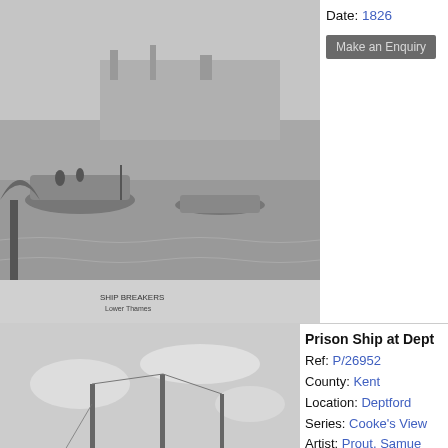[Figure (illustration): Black and white engraving of a riverside scene with boats and figures, Ship at Deptford]
Date: 1826
Make an Enquiry
[Figure (illustration): Black and white engraving of Prison Ship at Deptford, large decommissioned ship hull with masts, small boats nearby]
Prison Ship at Deptford
Ref: P/26952
County: Kent
Location: Deptford
Series: Cooke's Views
Artist: Prout, Samuel
Engraver: Cooke, G
Publisher: Longman
Date: 1826
Make an Enquiry
[Figure (illustration): Black and white engraving of The Schools at Harrow, showing trees and church spire]
The Schools Harrow
Ref: P/4438
County: Middlesex
Location: Harrow
Series: Cooke's Views
Engraver: Cooke, G
Publisher: Longman
Date: 1827